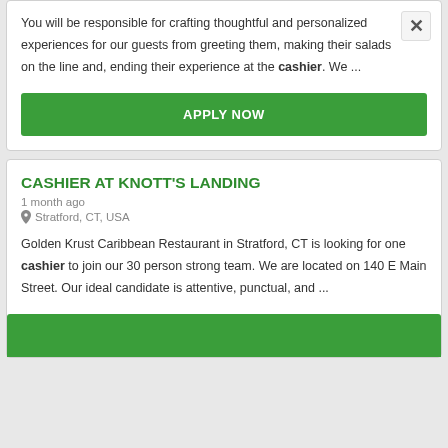You will be responsible for crafting thoughtful and personalized experiences for our guests from greeting them, making their salads on the line and, ending their experience at the cashier. We ...
APPLY NOW
CASHIER AT KNOTT'S LANDING
1 month ago
Stratford, CT, USA
Golden Krust Caribbean Restaurant in Stratford, CT is looking for one cashier to join our 30 person strong team. We are located on 140 E Main Street. Our ideal candidate is attentive, punctual, and ...
APPLY NOW